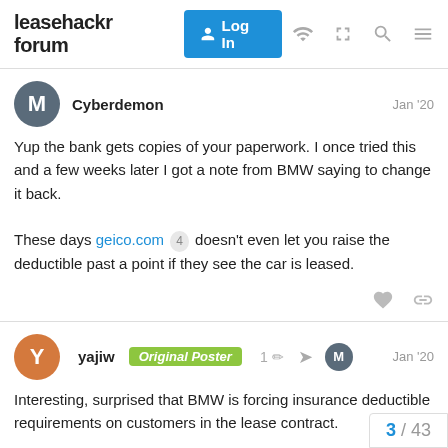leasehackr forum  Log In
Cyberdemon  Jan '20
Yup the bank gets copies of your paperwork. I once tried this and a few weeks later I got a note from BMW saying to change it back.

These days geico.com 4 doesn't even let you raise the deductible past a point if they see the car is leased.
yajiw  Original Poster  1  Jan '20
Interesting, surprised that BMW is forcing insurance deductible requirements on customers in the lease contract.

Would have assumed that customers wou
3 / 43